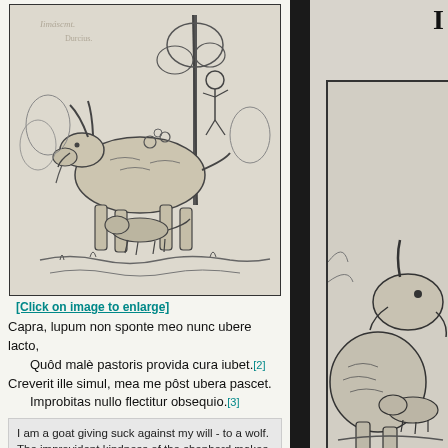[Figure (illustration): Woodcut illustration of a goat with a wolf or small animal beneath it, and a human figure near a tree in the background. Old botanical/natural history style engraving.]
[Click on image to enlarge]
Capra, lupum non sponte meo nunc ubere lacto,
    Quôd malè pastoris provida cura iubet.[2]
Creverit ille simul, mea me pôst ubera pascet.
    Improbitas nullo flectitur obsequio.[3]
I am a goat giving suck against my will - to a wolf. The improvident kindness of the shepherd makes me do this. Even the wolf, once it has grown, will graze me after my milk.
[Figure (illustration): Partial woodcut illustration on right page showing a goat or similar animal, partial view cut off by page edge. Large decorative initial letter visible at top right.]